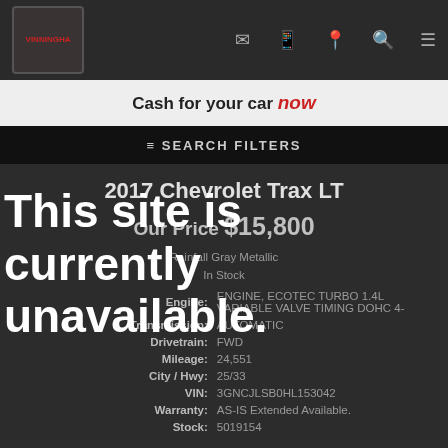VINNINGHA (logo) — nav icons: email, phone, location, search, menu
Cash for your car now
SEARCH FILTERS
2017 Chevrolet Trax LT
Our Price $15,800
Rainfall Gray Metallic
In Stock
Engine: ENGINE, ECOTEC TURBO 1.4L VARIABLE VALVE TIMING DOHC 4-
Transmission: AUTOMATIC
Drivetrain: FWD
Mileage: 24,551
City / Hwy: 25/33
VIN: 3GNCJLSB0HL153042
Warranty: AS-IS Extended Available.
Stock: 5019154
This site is currently unavailable.